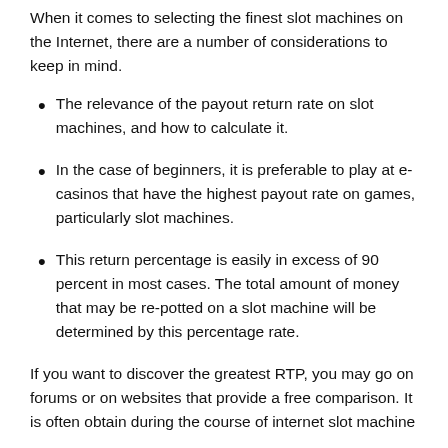When it comes to selecting the finest slot machines on the Internet, there are a number of considerations to keep in mind.
The relevance of the payout return rate on slot machines, and how to calculate it.
In the case of beginners, it is preferable to play at e-casinos that have the highest payout rate on games, particularly slot machines.
This return percentage is easily in excess of 90 percent in most cases. The total amount of money that may be re-potted on a slot machine will be determined by this percentage rate.
If you want to discover the greatest RTP, you may go on forums or on websites that provide a free comparison. It is often obtain during the course of internet slot machine...